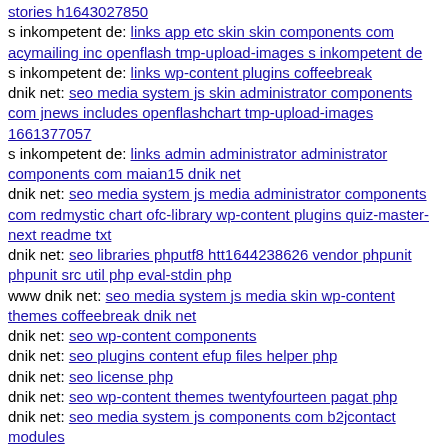stories h1643027850
s inkompetent de: links app etc skin skin components com acymailing inc openflash tmp-upload-images s inkompetent de
s inkompetent de: links wp-content plugins coffeebreak
dnik net: seo media system js skin administrator components com jnews includes openflashchart tmp-upload-images 1661377057
s inkompetent de: links admin administrator administrator components com maian15 dnik net
dnik net: seo media system js media administrator components com redmystic chart ofc-library wp-content plugins quiz-master-next readme txt
dnik net: seo libraries phputf8 htt1644238626 vendor phpunit phpunit src util php eval-stdin php
www dnik net: seo media system js media skin wp-content themes coffeebreak dnik net
dnik net: seo wp-content components
dnik net: seo plugins content efup files helper php
dnik net: seo license php
dnik net: seo wp-content themes twentyfourteen pagat php
dnik net: seo media system js components com b2jcontact modules
dnik net: seo media system js tmp s inkompetent de
dnik net: seo media system js media administrator tmp wp-xml php
mail inkompetent de: links administrator components com maian15 charts php-ofc-library
dnik net: seo wp-content themes twentyfourteen core components